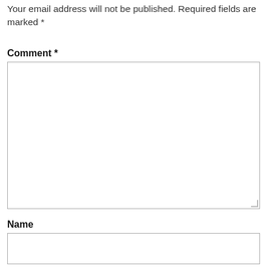Your email address will not be published. Required fields are marked *
Comment *
[Figure (other): Large empty textarea for comment input with resize handle in bottom-right corner]
Name
[Figure (other): Single-line text input field for name]